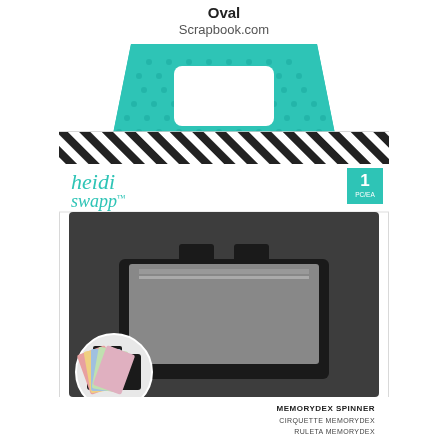Oval
Scrapbook.com
[Figure (photo): Heidi Swapp Memorydex Spinner product in teal and black/white striped packaging with a clear window showing the dark spinner device inside. A circular inset image at bottom-left shows the spinner filled with cards.]